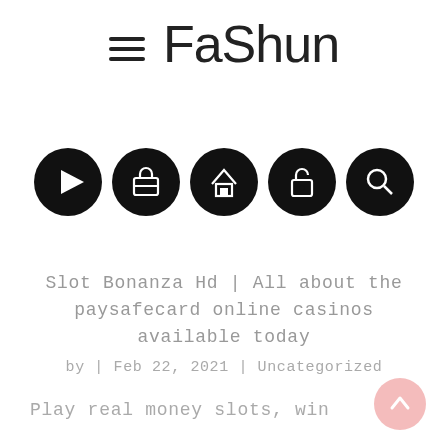[Figure (logo): FaShun brand logo with hamburger menu icon on the left and stylized thin-font 'FaShun' logotype text on the right]
[Figure (infographic): Five black circular icon buttons in a row: play/video, briefcase/work, home, lock/security, search]
Slot Bonanza Hd | All about the paysafecard online casinos available today
by | Feb 22, 2021 | Uncategorized
Play real money slots, win